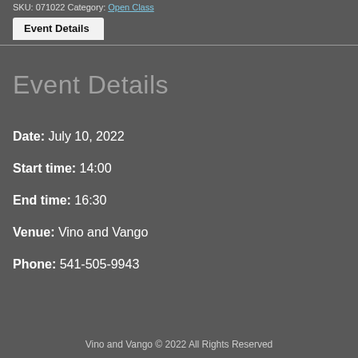SKU: 071022 Category: Open Class
Event Details
Event Details
Date: July 10, 2022
Start time: 14:00
End time: 16:30
Venue: Vino and Vango
Phone: 541-505-9943
Vino and Vango © 2022 All Rights Reserved